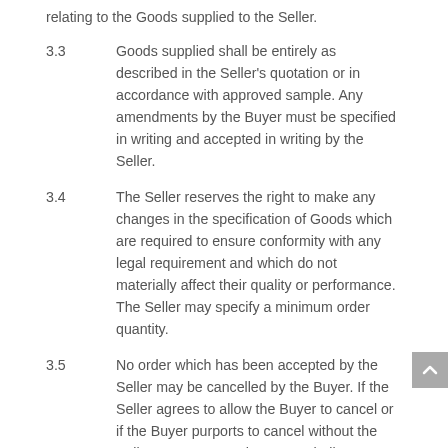relating to the Goods supplied to the Seller.
3.3	Goods supplied shall be entirely as described in the Seller's quotation or in accordance with approved sample.  Any amendments by the Buyer must be specified in writing and accepted in writing by the Seller.
3.4	The Seller reserves the right to make any changes in the specification of Goods which are required to ensure conformity with any legal requirement and which do not materially affect their quality or performance.  The Seller may specify a minimum order quantity.
3.5	No order which has been accepted by the Seller may be cancelled by the Buyer.  If the Seller agrees to allow the Buyer to cancel or if the Buyer purports to cancel without the Seller's agreement, the Buyer shall indemnify the Seller